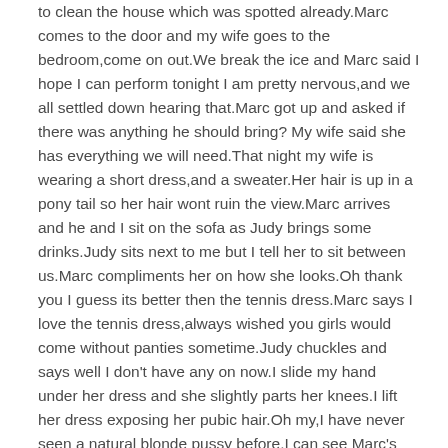to clean the house which was spotted already.Marc comes to the door and my wife goes to the bedroom,come on out.We break the ice and Marc said I hope I can perform tonight I am pretty nervous,and we all settled down hearing that.Marc got up and asked if there was anything he should bring? My wife said she has everything we will need.That night my wife is wearing a short dress,and a sweater.Her hair is up in a pony tail so her hair wont ruin the view.Marc arrives and he and I sit on the sofa as Judy brings some drinks.Judy sits next to me but I tell her to sit between us.Marc compliments her on how she looks.Oh thank you I guess its better then the tennis dress.Marc says I love the tennis dress,always wished you girls would come without panties sometime.Judy chuckles and says well I don't have any on now.I slide my hand under her dress and she slightly parts her knees.I lift her dress exposing her pubic hair.Oh my,I have never seen a natural blonde pussy before.I can see Marc's cock growing in his pants and tell him go ahead and feel how soft she is.I sit back and watch him fondle my wifes pussy.Judy parts her legs showing Marc her pussy and now her lips are showing.Marc inserts a finger as I watch and Judy moans and her head goes back.I unzip my